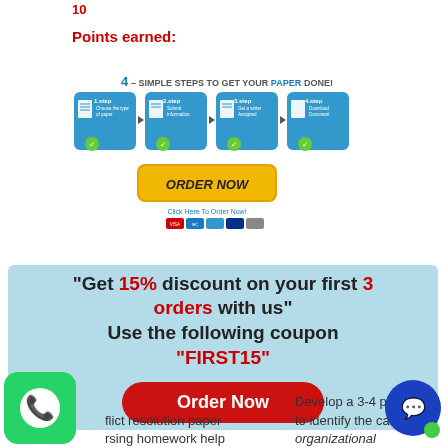10
Points earned:
[Figure (infographic): 4 simple steps to get your paper done: 1.step Choose the type of paper, 2.step Submit Information, 3.step Get a writer Assigned, 4.step Download Document. With an ORDER NOW button and payment icons.]
"Get 15% discount on your first 3 orders with us" Use the following coupon "FIRST15"
Order Now
flict resolution paper rsing homework help
Develop a 3-4 page plan to identify the causes of organizational